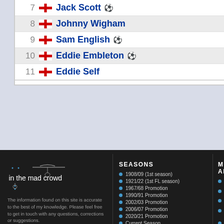| # | Flag | Player |
| --- | --- | --- |
| 7 | England | Jack Scott ⚽ |
| 8 | England | Johnny Wigham |
| 9 | England | Sam English ⚽ |
| 10 | England | Eddie Embleton ⚽ |
| 11 | England | Eddie Self |
[Figure (other): In the mad crowd website logo with hangman illustration]
The information found on this site is accurate to the best of my knowledge. Please feel free to get in touch with any questions, corrections or suggestions. - John Phillips
contact me
SEASONS
1908/09 (1st season)
1921/22 (1st FL season)
1967/68 Promotion
1990/91 Promotion
2002/03 Promotion
2006/07 Promotion
2020/21 Promotion
Current Season
MOST APP
Ritchie
Watty M
Antony
Ray Th
Alan Ge
Kenny
Brian H
Micky B
Jackie
Tommy